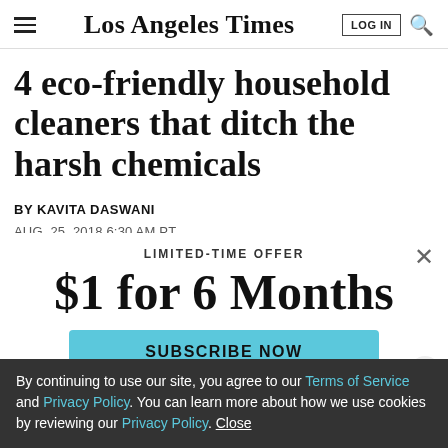Los Angeles Times
4 eco-friendly household cleaners that ditch the harsh chemicals
BY KAVITA DASWANI
AUG. 25, 2018 6:30 AM PT
LIMITED-TIME OFFER
$1 for 6 Months
SUBSCRIBE NOW
By continuing to use our site, you agree to our Terms of Service and Privacy Policy. You can learn more about how we use cookies by reviewing our Privacy Policy. Close